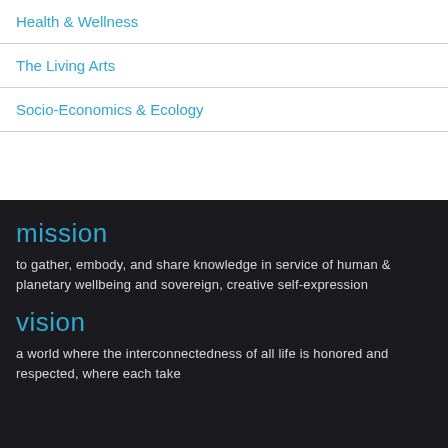Health & Wellness
The Living Arts
Socio-Economics & Ecology
mission
to gather, embody, and share knowledge in service of human & planetary wellbeing and sovereign, creative self-expression
vision
a world where the interconnectedness of all life is honored and respected, where each take